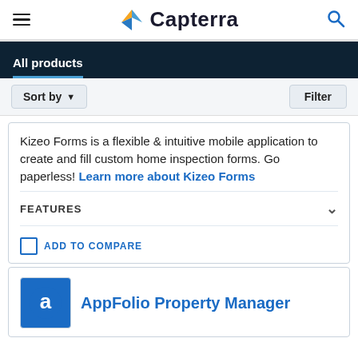Capterra
All products
Sort by   Filter
Kizeo Forms is a flexible & intuitive mobile application to create and fill custom home inspection forms. Go paperless! Learn more about Kizeo Forms
FEATURES
ADD TO COMPARE
AppFolio Property Manager